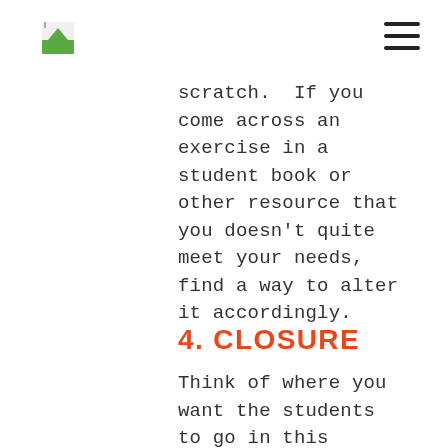[logo] [navigation menu]
scratch.  If you come across an exercise in a student book or other resource that you doesn't quite meet your needs, find a way to alter it accordingly.
4. CLOSURE
Think of where you want the students to go in this class.  Will they leave the class